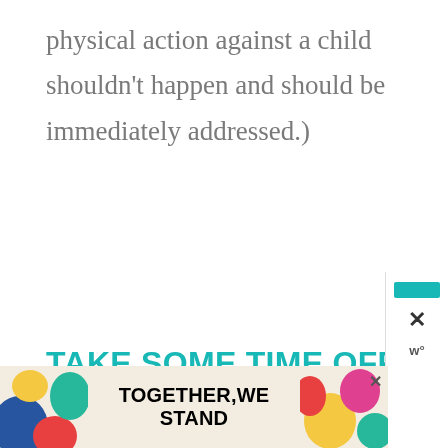physical action against a child shouldn't happen and should be immediately addressed.)
TAKE SOME TIME OFF
We all need some time away. Whether it's a solo walk, an afternoon by yourself, or a shopping jaunt, coordinate with your traveling partner to help make that time a reality, at
[Figure (other): Advertisement banner at bottom reading TOGETHER, WE STAND with colorful illustrated shapes on left and right sides, and a close button]